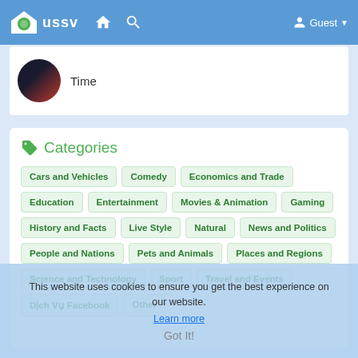USSV — navigation bar with home and search icons, Guest user menu
Time
Categories
Cars and Vehicles
Comedy
Economics and Trade
Education
Entertainment
Movies & Animation
Gaming
History and Facts
Live Style
Natural
News and Politics
People and Nations
Pets and Animals
Places and Regions
Science and Technology
Sport
Travel and Events
Dịch Vụ Facebook
Other
This website uses cookies to ensure you get the best experience on our website.
Learn more
Got It!